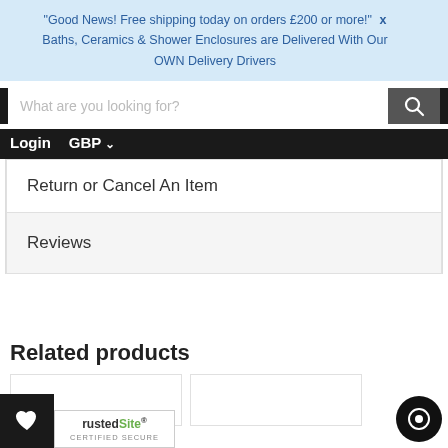"Good News! Free shipping today on orders £200 or more!" X
Baths, Ceramics & Shower Enclosures are Delivered With Our OWN Delivery Drivers
[Figure (screenshot): Website navigation bar with search input field and magnifying glass search button on dark background]
Login   GBP ∨
Return or Cancel An Item
Reviews
Related products
[Figure (logo): TrustedSite Certified Secure badge]
[Figure (other): Chat/support button circle at bottom right]